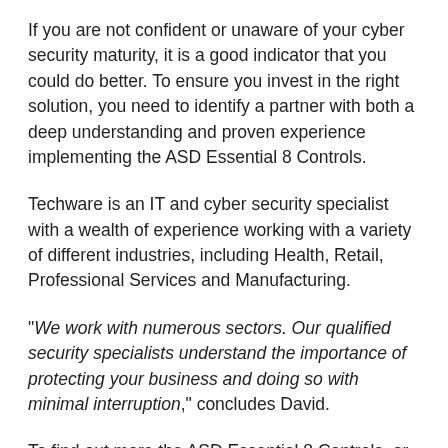If you are not confident or unaware of your cyber security maturity, it is a good indicator that you could do better. To ensure you invest in the right solution, you need to identify a partner with both a deep understanding and proven experience implementing the ASD Essential 8 Controls.
Techware is an IT and cyber security specialist with a wealth of experience working with a variety of different industries, including Health, Retail, Professional Services and Manufacturing.
"We work with numerous sectors. Our qualified security specialists understand the importance of protecting your business and doing so with minimal interruption," concludes David.
To find out more the ASD Essential 8 Controls, or to